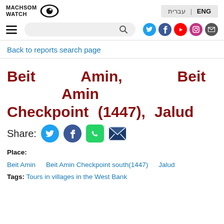[Figure (logo): Machsom Watch logo with eye icon and text 'MACHSOM WATCH']
ENG | עברית
[Figure (infographic): Navigation bar with hamburger menu, search box with magnifier icon, and social media icons (Twitter, Facebook, YouTube, Instagram, Email)]
Back to reports search page
Beit Amin, Beit Amin Checkpoint (1447), Jalud
Share:
Place: Beit Amin  Beit Amin Checkpoint south(1447)  Jalud
Tags: Tours in villages in the West Bank